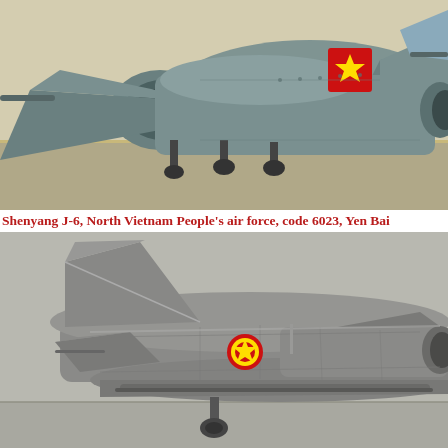[Figure (photo): Close-up photo of a Shenyang J-6 jet aircraft model from the front/underside, showing the nose intake, wings, landing gear, and Vietnamese People's Air Force roundel (red square with yellow star) on the fuselage. The aircraft has a grey-green finish on a tarmac background.]
Shenyang J-6, North Vietnam People's air force, code 6023, Yen Bai
[Figure (photo): Close-up photo of the tail section of a Shenyang J-6 scale model aircraft, showing the swept tail fins, rear fuselage, and a Vietnamese People's Air Force roundel. The model is silver/grey with visible panel lines and a single rear landing wheel visible at bottom center.]